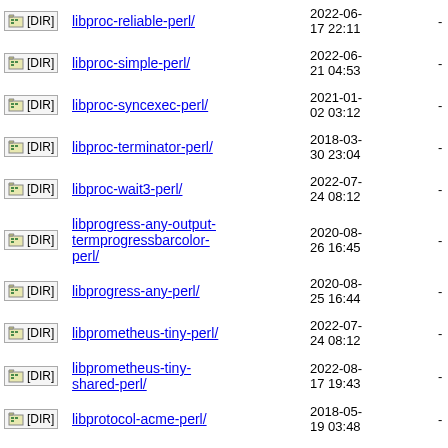|  | Name | Date | Size |
| --- | --- | --- | --- |
| [DIR] | libproc-reliable-perl/ | 2022-06-17 22:11 | - |
| [DIR] | libproc-simple-perl/ | 2022-06-21 04:53 | - |
| [DIR] | libproc-syncexec-perl/ | 2021-01-02 03:12 | - |
| [DIR] | libproc-terminator-perl/ | 2018-03-30 23:04 | - |
| [DIR] | libproc-wait3-perl/ | 2022-07-24 08:12 | - |
| [DIR] | libprogress-any-output-termprogressbarcolor-perl/ | 2020-08-26 16:45 | - |
| [DIR] | libprogress-any-perl/ | 2020-08-25 16:44 | - |
| [DIR] | libprometheus-tiny-perl/ | 2022-07-24 08:12 | - |
| [DIR] | libprometheus-tiny-shared-perl/ | 2022-08-17 19:43 | - |
| [DIR] | libprotocol-acme-perl/ | 2018-05-19 03:48 | - |
| [DIR] | libprotocol-http2-perl/ | 2020-12-30 03:04 | - |